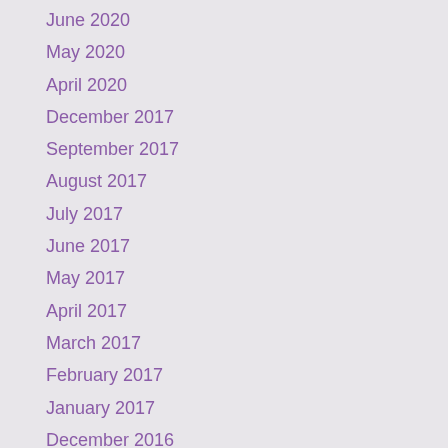June 2020
May 2020
April 2020
December 2017
September 2017
August 2017
July 2017
June 2017
May 2017
April 2017
March 2017
February 2017
January 2017
December 2016
November 2016
October 2016
September 2016
August 2016
July 2016